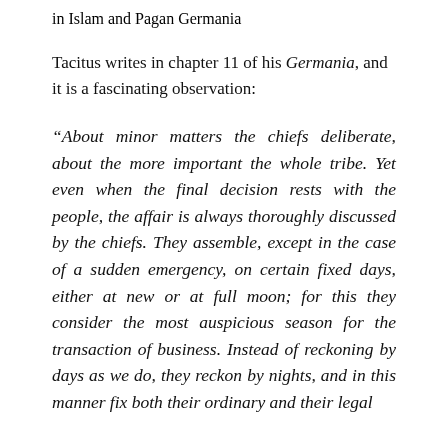in Islam and Pagan Germania
Tacitus writes in chapter 11 of his Germania, and it is a fascinating observation:
“About minor matters the chiefs deliberate, about the more important the whole tribe. Yet even when the final decision rests with the people, the affair is always thoroughly discussed by the chiefs. They assemble, except in the case of a sudden emergency, on certain fixed days, either at new or at full moon; for this they consider the most auspicious season for the transaction of business. Instead of reckoning by days as we do, they reckon by nights, and in this manner fix both their ordinary and their legal